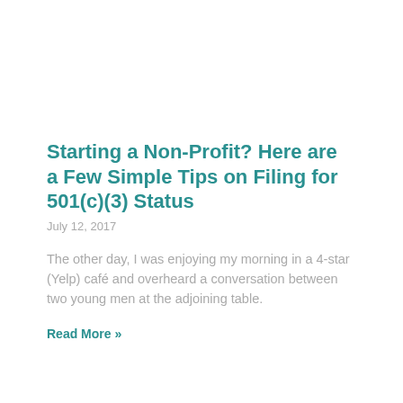Starting a Non-Profit? Here are a Few Simple Tips on Filing for 501(c)(3) Status
July 12, 2017
The other day, I was enjoying my morning in a 4-star (Yelp) café and overheard a conversation between two young men at the adjoining table.
Read More »